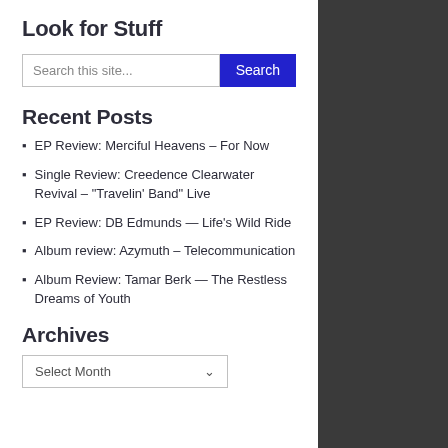Look for Stuff
Search this site...
Recent Posts
EP Review: Merciful Heavens – For Now
Single Review: Creedence Clearwater Revival – "Travelin' Band" Live
EP Review: DB Edmunds — Life's Wild Ride
Album review: Azymuth – Telecommunication
Album Review: Tamar Berk — The Restless Dreams of Youth
Archives
Select Month